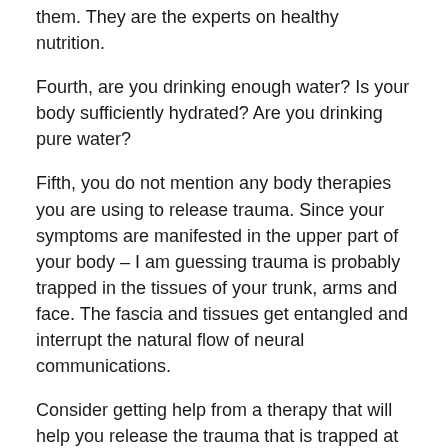them. They are the experts on healthy nutrition.
Fourth, are you drinking enough water? Is your body sufficiently hydrated? Are you drinking pure water?
Fifth, you do not mention any body therapies you are using to release trauma. Since your symptoms are manifested in the upper part of your body – I am guessing trauma is probably trapped in the tissues of your trunk, arms and face. The fascia and tissues get entangled and interrupt the natural flow of neural communications.
Consider getting help from a therapy that will help you release the trauma that is trapped at the cellular level. When the tissues get crunched, the neural pathways are obstructed. Cranial sacral therapy is especially useful in this regard as is myofascial release and Bowen therapy.
As for a good physical therapist, Kevin Lockette suggests